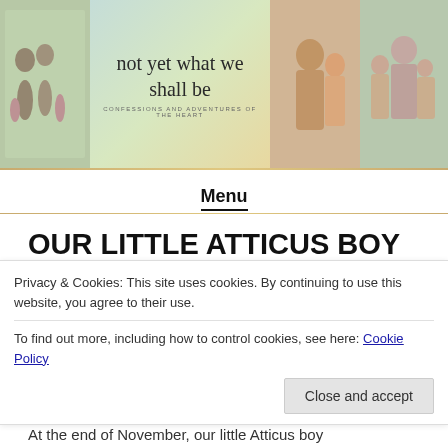[Figure (photo): Blog header banner with four family photos and a central script logo reading 'not yet what we shall be — confessions and adventures of the heart']
Menu
OUR LITTLE ATTICUS BOY IS 3!
POSTED ON DECEMBER 26, 2019
by Alison
Privacy & Cookies: This site uses cookies. By continuing to use this website, you agree to their use.
To find out more, including how to control cookies, see here: Cookie Policy
Close and accept
At the end of November, our little Atticus boy